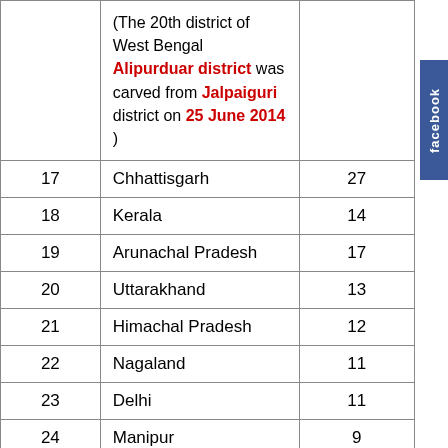| # | State | Districts |
| --- | --- | --- |
|  | (The 20th district of West Bengal Alipurduar district was carved from Jalpaiguri district on 25 June 2014 ) |  |
| 17 | Chhattisgarh | 27 |
| 18 | Kerala | 14 |
| 19 | Arunachal Pradesh | 17 |
| 20 | Uttarakhand | 13 |
| 21 | Himachal Pradesh | 12 |
| 22 | Nagaland | 11 |
| 23 | Delhi | 11 |
| 24 | Manipur | 9 |
| 25 | Mizoram | 8 |